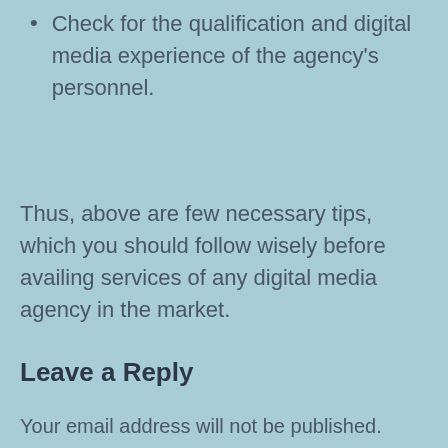Check for the qualification and digital media experience of the agency's personnel.
Thus, above are few necessary tips, which you should follow wisely before availing services of any digital media agency in the market.
Previous post Top 4 Digital Marketing Strategies for Brand Promotion | Next post The Home Based Business Explosion Is Upon Us!
Leave a Reply
Your email address will not be published.